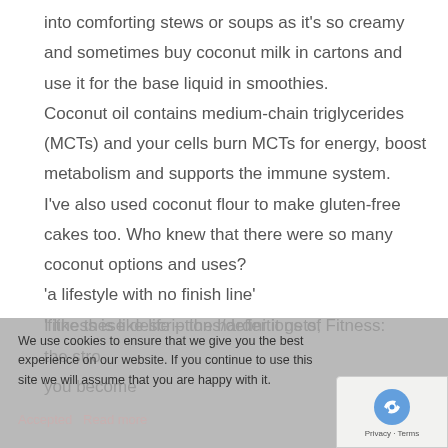into comforting stews or soups as it's so creamy and sometimes buy coconut milk in cartons and use it for the base liquid in smoothies.
Coconut oil contains medium-chain triglycerides (MCTs) and your cells burn MCTs for energy, boost metabolism and supports the immune system.
I've also used coconut flour to make gluten-free cakes too. Who knew that there were so many coconut options and uses?
I like these descriptions/definitions of Fitness:
'a lifestyle with no finish line'
'fitness is like life – the harder it gets, the stronger you become'
We use cookies to ensure that we give you the best experience on our website. If you continue to use this site we will assume that you are happy with it.